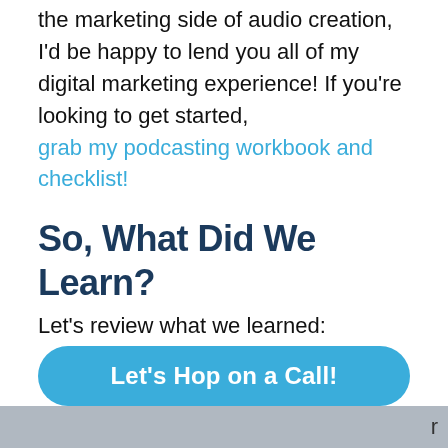the marketing side of audio creation, I'd be happy to lend you all of my digital marketing experience! If you're looking to get started, grab my podcasting workbook and checklist!
So, What Did We Learn?
Let's review what we learned:
Virtual teams can do much more than copywriting, social media, and website building/maintenance.
Let's Hop on a Call!